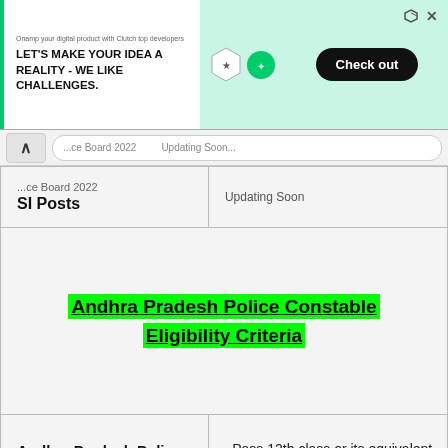[Figure (screenshot): Advertisement banner: 'LET'S MAKE YOUR IDEA A REALITY - WE LIKE CHALLENGES.' with Check out button on teal background]
| [...Board 2022 SI Posts] | [...Updating Soon...] |
| Andhra Pradesh Police Constable Eligibility Criteria |  |
| Andhra Pradesh Police Constable Qualification | - Pass 12th class or its equivalent from a well recognized Board |
| Andhra Pradesh... |  |